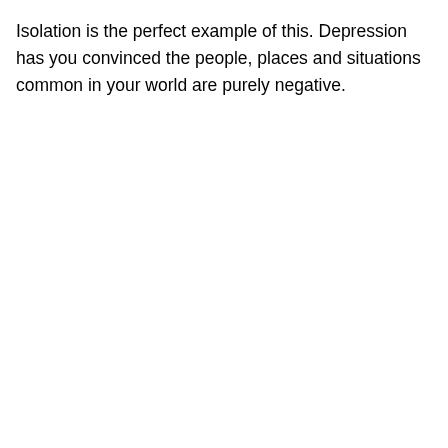Isolation is the perfect example of this. Depression has you convinced the people, places and situations common in your world are purely negative.